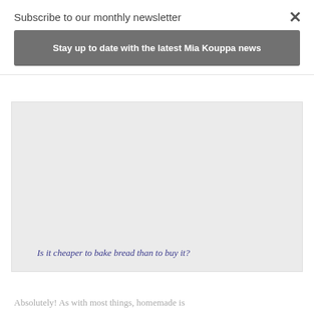Subscribe to our monthly newsletter
Stay up to date with the latest Mia Kouppa news
[Figure (other): Large blank/light gray image placeholder card with a link text at the bottom]
Is it cheaper to bake bread than to buy it?
Absolutely! As with most things, homemade is